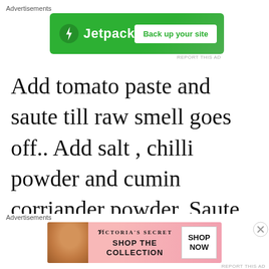Advertisements
[Figure (advertisement): Jetpack ad banner with green background, lightning bolt icon, brand name 'Jetpack', and 'Back up your site' button]
REPORT THIS AD
Add tomato paste and saute till raw smell goes off.. Add salt , chilli powder and cumin corriander powder. Saute till ghee starts seperating
Advertisements
[Figure (advertisement): Victoria's Secret ad banner with pink background, model photo, VS logo, 'SHOP THE COLLECTION' text, and 'SHOP NOW' button]
REPORT THIS AD